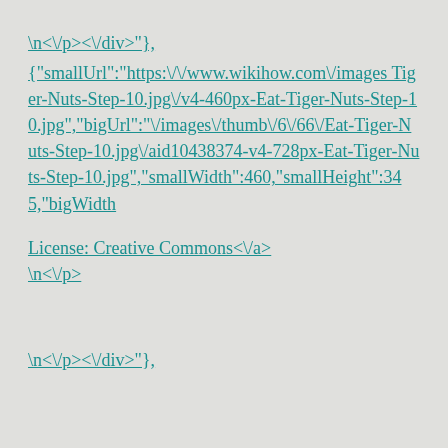\n<\/p><\/div>"},
{"smallUrl":"https:\/\/www.wikihow.com\/images Tiger-Nuts-Step-10.jpg\/v4-460px-Eat-Tiger-Nuts-Step-10.jpg","bigUrl":"\/images\/thumb\/6\/66\/Eat-Tiger-Nuts-Step-10.jpg\/aid10438374-v4-728px-Eat-Tiger-Nuts-Step-10.jpg","smallWidth":460,"smallHeight":345,"bigWidth
License: Creative Commons<\/a> \n<\/p>
\n<\/p><\/div>"},